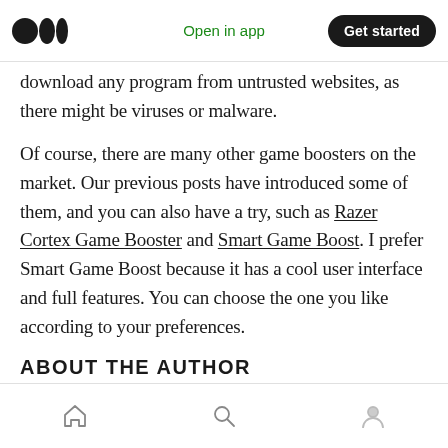Medium logo | Open in app | Get started
download any program from untrusted websites, as there might be viruses or malware.
Of course, there are many other game boosters on the market. Our previous posts have introduced some of them, and you can also have a try, such as Razer Cortex Game Booster and Smart Game Boost. I prefer Smart Game Boost because it has a cool user interface and full features. You can choose the one you like according to your preferences.
ABOUT THE AUTHOR
Home | Search | Profile